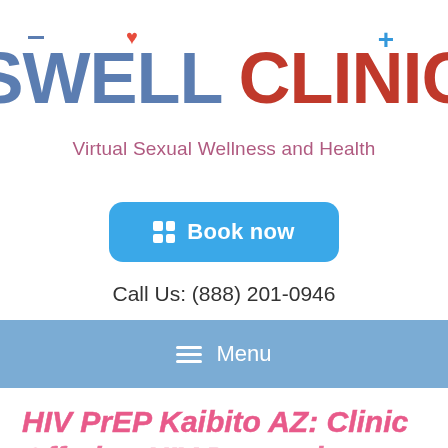[Figure (logo): Swell Clinic logo with heart icon above 'W', blue plus sign top right, text 'SWELL CLINIC' in blue and red]
Virtual Sexual Wellness and Health
[Figure (other): Blue rounded button with grid icon and text 'Book now']
Call Us: (888) 201-0946
≡  Menu
HIV PrEP Kaibito AZ: Clinic Offering HIV Prevention